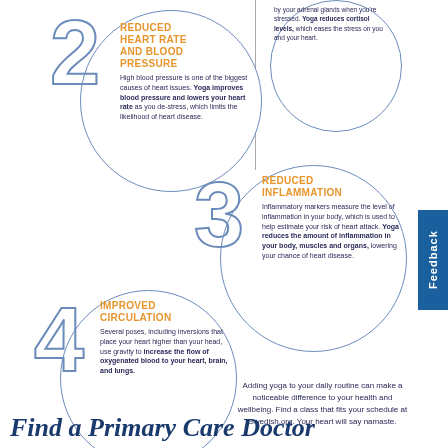[Figure (infographic): Health infographic about yoga and heart health. Features four numbered circles (2, 3, 4) with large outline numbers and circular bordered regions containing headings and descriptive text about: Reduced Heart Rate and Blood Pressure, Reduced Inflammation, and Improved Circulation. A partial circle at top right mentions cortisol levels. A feedback tab is on the right side.]
Adding yoga to your daily routine can make a noticeable difference to your health and wellbeing. Find a class that fits your schedule at Swedish.org. Your heart will say namaste.
Find a Primary Care Doctor